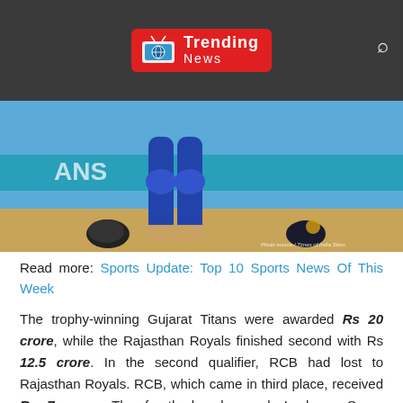Trending News
[Figure (photo): Cricket player legs in blue pads standing on field with helmets on the ground, stadium advertisement boards in background]
Read more: Sports Update: Top 10 Sports News Of This Week
The trophy-winning Gujarat Titans were awarded Rs 20 crore, while the Rajasthan Royals finished second with Rs 12.5 crore. In the second qualifier, RCB had lost to Rajasthan Royals. RCB, which came in third place, received Rs 7 crore. The fourth-placed squad, Lucknow Super Giants, was awarded Rs 6.5 crore in